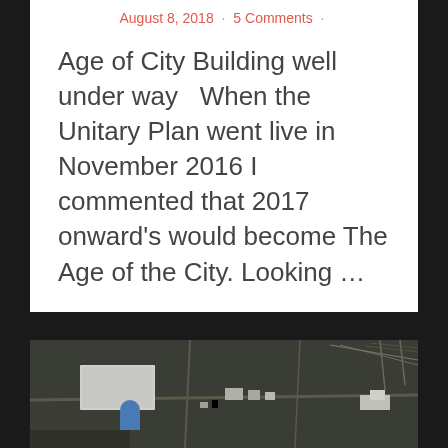August 8, 2018 · 5 Comments ·
Age of City Building well under way   When the Unitary Plan went live in November 2016 I commented that 2017 onward's would become The Age of the City. Looking …
Continue reading
[Figure (photo): Aerial photograph of an industrial or commercial area, showing buildings, roads, and open land viewed from above in dark/muted tones.]